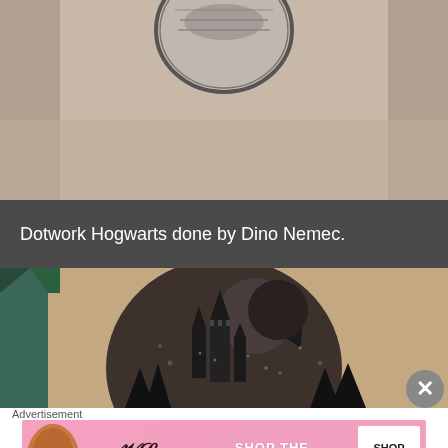[Figure (photo): Close-up of a person's skin showing part of a circular dotwork tattoo, cropped at top]
Dotwork Hogwarts done by Dino Nemec.
[Figure (photo): Close-up tattoo photo showing dotwork style Hogwarts castle with crescent moon inside a circular design on skin]
Advertisement
[Figure (screenshot): Victoria's Secret advertisement banner: SHOP THE COLLECTION with SHOP NOW button, featuring a model]